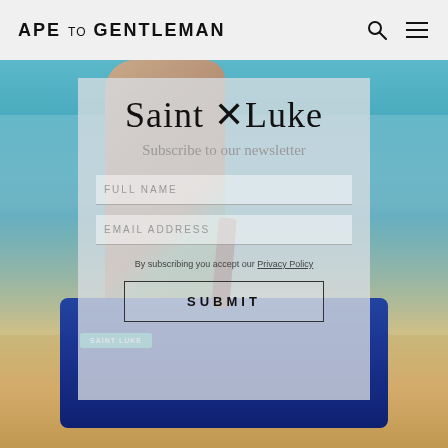APE TO GENTLEMAN
[Figure (photo): Beach scene with person holding a blue Saint Luke duffel bag, turquoise ocean waves in background, sand in foreground]
Saint Luke
Subscribe to our newsletter
FULL NAME
EMAIL ADDRESS
By subscribing you accept our Privacy Policy
SUBMIT